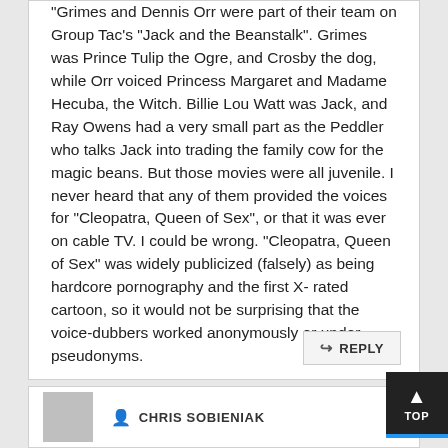"Grimes and Dennis Orr were part of their team on Group Tac's "Jack and the Beanstalk". Grimes was Prince Tulip the Ogre, and Crosby the dog, while Orr voiced Princess Margaret and Madame Hecuba, the Witch. Billie Lou Watt was Jack, and Ray Owens had a very small part as the Peddler who talks Jack into trading the family cow for the magic beans. But those movies were all juvenile. I never heard that any of them provided the voices for "Cleopatra, Queen of Sex", or that it was ever on cable TV. I could be wrong. "Cleopatra, Queen of Sex" was widely publicized (falsely) as being hardcore pornography and the first X-rated cartoon, so it would not be surprising that the voice-dubbers worked anonymously or under pseudonyms.
REPLY
CHRIS SOBIENIAK